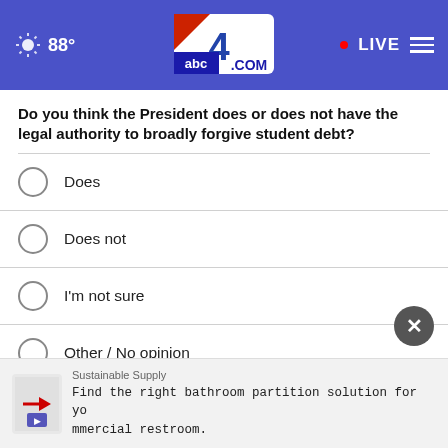[Figure (screenshot): abc4.com website header with weather (88°), abc4 logo, LIVE indicator, and hamburger menu on blue/purple background]
Do you think the President does or does not have the legal authority to broadly forgive student debt?
Does
Does not
I'm not sure
Other / No opinion
NEXT *
* By clicking "NEXT" you agree to the following: We use cookies to track your survey answers. If you would like to continue with this survey, please read and agree to the CivicScience Privacy Policy and Terms of Service
[Figure (screenshot): Advertisement banner: Sustainable Supply - Find the right bathroom partition solution for your commercial restroom.]